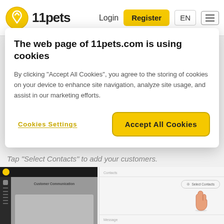[Figure (screenshot): 11pets website header with logo, Login, Register (yellow button), EN, and hamburger menu]
The web page of 11pets.com is using cookies
By clicking "Accept All Cookies", you agree to the storing of cookies on your device to enhance site navigation, analyze site usage, and assist in our marketing efforts.
Cookies Settings
Accept All Cookies
[Figure (screenshot): 11pets app Customer Communication screen showing contacts panel with Select Contacts button and a hand cursor pointing to it, and a message field below]